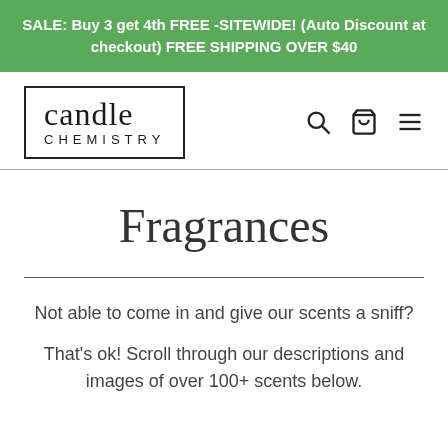SALE: Buy 3 get 4th FREE -SITEWIDE! (Auto Discount at checkout) FREE SHIPPING OVER $40
[Figure (logo): Candle Chemistry logo — text 'candle' in serif font above 'CHEMISTRY' in spaced capitals, enclosed in a rectangular border]
Fragrances
Not able to come in and give our scents a sniff?
That's ok! Scroll through our descriptions and images of over 100+ scents below.